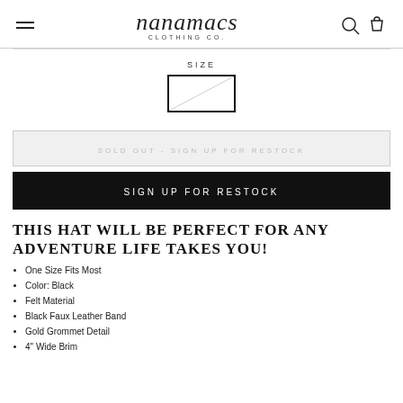nanamacs CLOTHING CO.
SIZE
SOLD OUT - SIGN UP FOR RESTOCK
SIGN UP FOR RESTOCK
THIS HAT WILL BE PERFECT FOR ANY ADVENTURE LIFE TAKES YOU!
One Size Fits Most
Color: Black
Felt Material
Black Faux Leather Band
Gold Grommet Detail
4" Wide Brim